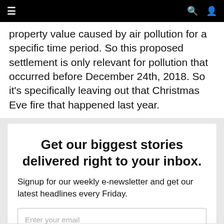≡  🔍  👤
property value caused by air pollution for a specific time period. So this proposed settlement is only relevant for pollution that occurred before December 24th, 2018. So it's specifically leaving out that Christmas Eve fire that happened last year.
Get our biggest stories delivered right to your inbox.
Signup for our weekly e-newsletter and get our latest headlines every Friday.
Enter your email
I'm in.